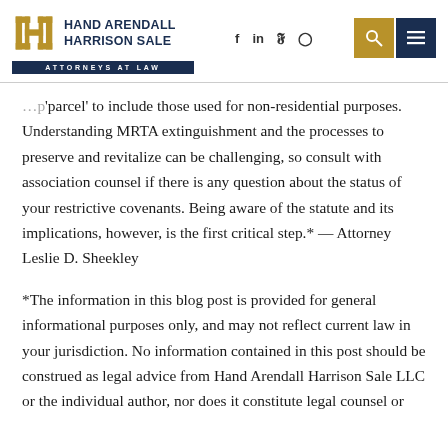HAND ARENDALL HARRISON SALE — ATTORNEYS AT LAW
'parcel' to include those used for non-residential purposes. Understanding MRTA extinguishment and the processes to preserve and revitalize can be challenging, so consult with association counsel if there is any question about the status of your restrictive covenants. Being aware of the statute and its implications, however, is the first critical step.* — Attorney Leslie D. Sheekley
*The information in this blog post is provided for general informational purposes only, and may not reflect current law in your jurisdiction. No information contained in this post should be construed as legal advice from Hand Arendall Harrison Sale LLC or the individual author, nor does it constitute legal counsel or